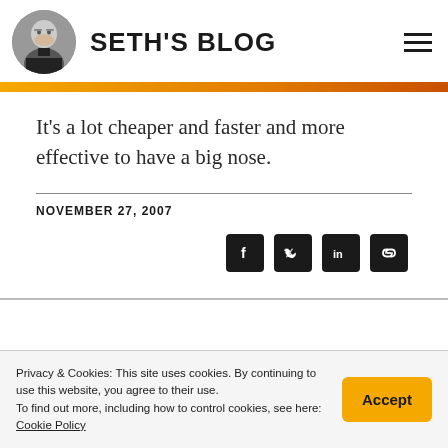SETH'S BLOG
It's a lot cheaper and faster and more effective to have a big nose.
NOVEMBER 27, 2007
[Figure (other): Social sharing icons: Facebook, Twitter, LinkedIn, Link]
Privacy & Cookies: This site uses cookies. By continuing to use this website, you agree to their use.
To find out more, including how to control cookies, see here: Cookie Policy